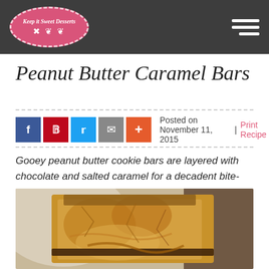Keep it Sweet Desserts
Peanut Butter Caramel Bars
Posted on November 11, 2015 | Print Recipe
Gooey peanut butter cookie bars are layered with chocolate and salted caramel for a decadent bite-sized treat.
[Figure (photo): Close-up photo of peanut butter caramel bars showing gooey layers of cookie, chocolate, and caramel]